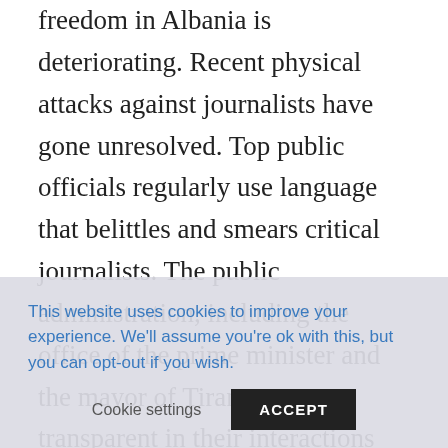freedom in Albania is deteriorating. Recent physical attacks against journalists have gone unresolved. Top public officials regularly use language that belittles and smears critical journalists. The public administration, including the office of the prime minister and the mayor of Tirana, are not transparent in their interactions with the media and restrict access to critical journalists. Recently proposed
This website uses cookies to improve your experience. We'll assume you're ok with this, but you can opt-out if you wish.
Cookie settings   ACCEPT